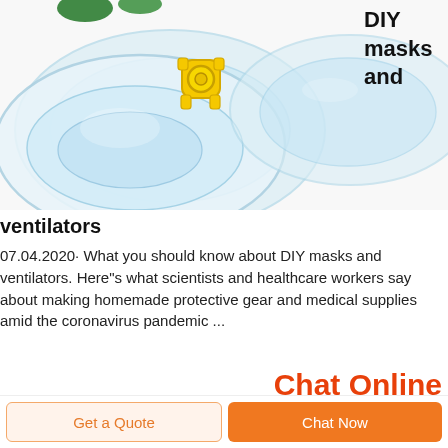[Figure (photo): Three medical/anesthesia face masks, transparent with yellow plastic connector piece and green strap, on white background]
DIY masks and
ventilators
07.04.2020· What you should know about DIY masks and ventilators. Here"s what scientists and healthcare workers say about making homemade protective gear and medical supplies amid the coronavirus pandemic ...
Chat Online
Get a Quote
Chat Now